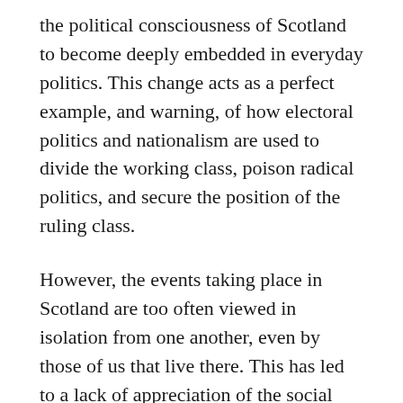the political consciousness of Scotland to become deeply embedded in everyday politics. This change acts as a perfect example, and warning, of how electoral politics and nationalism are used to divide the working class, poison radical politics, and secure the position of the ruling class.
However, the events taking place in Scotland are too often viewed in isolation from one another, even by those of us that live there. This has led to a lack of appreciation of the social and economic forces at play and given rise to analysis of the political landscape in Scotland that present the situation here as something to aspire to.
This piece aims to give a feel for the over-arching sweep of events in Scotland since the mid-nineties, contextualise the rise of a nationalism that is as divisive